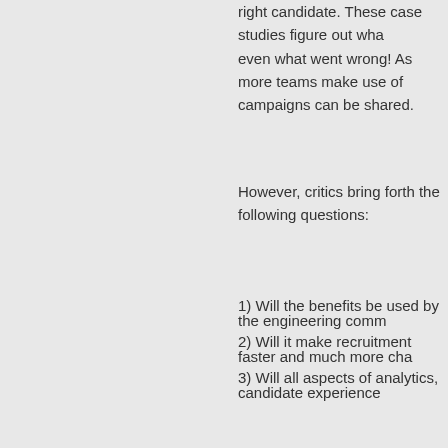right candidate. These case studies figure out what went right, and even what went wrong! As more teams make use of AI, more campaigns can be shared.
However, critics bring forth the following questions:
1) Will the benefits be used by the engineering comm...
2) Will it make recruitment faster and much more cha...
3) Will all aspects of analytics, candidate experience...
About   Latest Posts
Chirag Ahmedabadi
CTO at AppliView Technologies
Ahmedabadi is a seasoned web and m... person that is expert in Operational Ma... Planning, Strategy and implementation... passion in inventing new and more effe... business common problems and need...